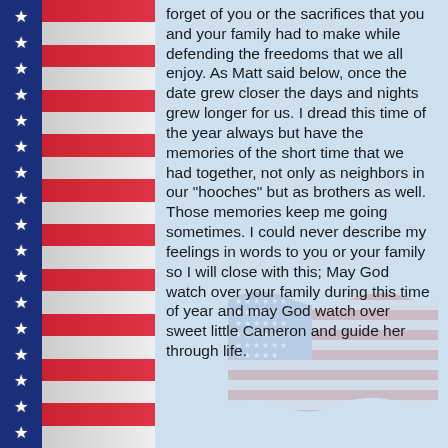[Figure (illustration): Patriotic left border with blue column of white stars and alternating red and white horizontal stripes]
forget of you or the sacrifices that you and your family had to make while defending the freedoms that we all enjoy. As Matt said below, once the date grew closer the days and nights grew longer for us. I dread this time of the year always but have the memories of the short time that we had together, not only as neighbors in our "hooches" but as brothers as well. Those memories keep me going sometimes. I could never describe my feelings in words to you or your family so I will close with this; May God watch over your family during this time of year and may God watch over sweet little Cameron and guide her through life.
[Figure (illustration): Faded/watermark American flag in the lower right portion of the page]